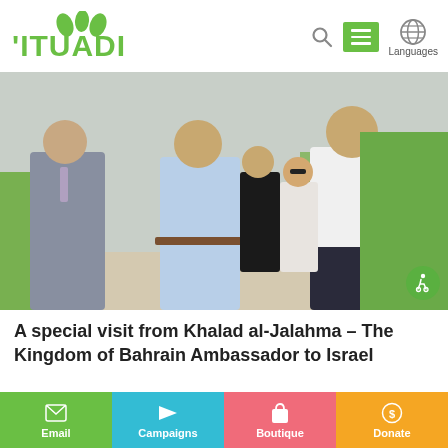[Figure (logo): Ituadi organization logo with green leaves and green Hebrew/stylized text]
[Figure (photo): Group of people walking outdoors on a path, including men in formal and casual dress, with greenery in background. A special visit from Khalad al-Jalahma, Kingdom of Bahrain Ambassador to Israel.]
A special visit from Khalad al-Jalahma – The Kingdom of Bahrain Ambassador to Israel
Email | Campaigns | Boutique | Donate